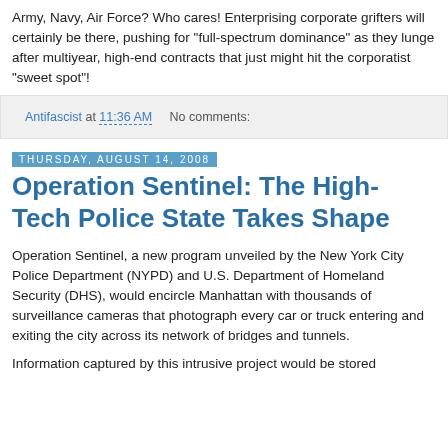Army, Navy, Air Force? Who cares! Enterprising corporate grifters will certainly be there, pushing for "full-spectrum dominance" as they lunge after multiyear, high-end contracts that just might hit the corporatist "sweet spot"!
Antifascist at 11:36 AM   No comments:
Thursday, August 14, 2008
Operation Sentinel: The High-Tech Police State Takes Shape
Operation Sentinel, a new program unveiled by the New York City Police Department (NYPD) and U.S. Department of Homeland Security (DHS), would encircle Manhattan with thousands of surveillance cameras that photograph every car or truck entering and exiting the city across its network of bridges and tunnels.
Information captured by this intrusive project would be stored